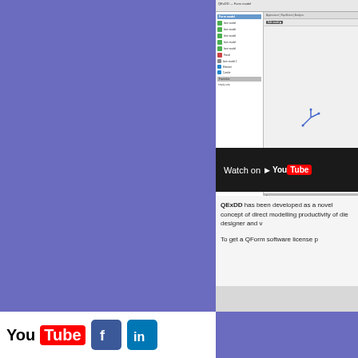[Figure (screenshot): QExDD software interface screenshot showing a tree view panel on the left with multiple items listed, and a 3D viewport on the right with coordinate axes visible. A YouTube 'Watch on YouTube' overlay bar is shown at the bottom of the screenshot.]
QExDD has been developed as a novel concept of direct modelling productivity of die designer and v
To get a QForm software license p
[Figure (logo): Social media icons: YouTube logo (You in black, Tube in red rectangle), Facebook logo (white f on blue background), LinkedIn logo (white 'in' on blue background)]